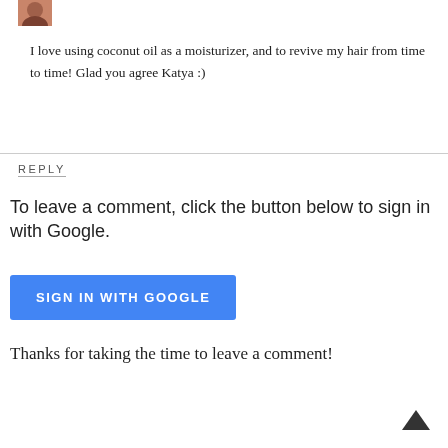[Figure (photo): Small avatar photo of a person in the top left corner]
I love using coconut oil as a moisturizer, and to revive my hair from time to time! Glad you agree Katya :)
REPLY
To leave a comment, click the button below to sign in with Google.
[Figure (other): Blue button labeled SIGN IN WITH GOOGLE]
Thanks for taking the time to leave a comment!
[Figure (other): Scroll to top arrow icon in bottom right corner]